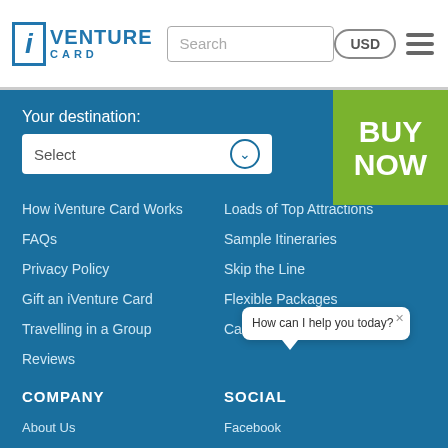[Figure (logo): iVenture Card logo with blue border box containing italic i, followed by VENTURE CARD text]
Search
USD
Your destination:
Select
BUY NOW
How iVenture Card Works
FAQs
Privacy Policy
Gift an iVenture Card
Travelling in a Group
Reviews
Loads of Top Attractions
Sample Itineraries
Skip the Line
Flexible Packages
Cash Free Entry
COMPANY
SOCIAL
About Us
Press Releases
Contact Us
List Your Attraction with Us
Facebook
Twitter
Instagram
Blog
How can I help you today?